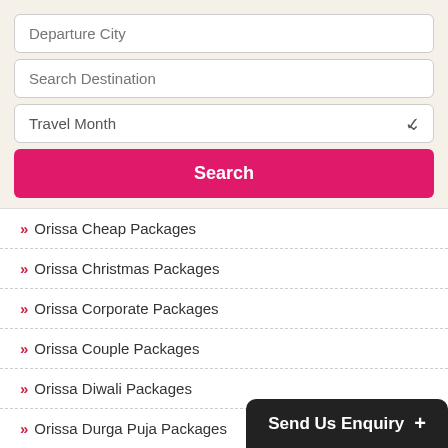[Figure (screenshot): Search form with Departure City input, Search Destination input, Travel Month dropdown, and Search button]
» Orissa Cheap Packages
» Orissa Christmas Packages
» Orissa Corporate Packages
» Orissa Couple Packages
» Orissa Diwali Packages
» Orissa Durga Puja Packages
» Orissa Family Packages
» Orissa Group Packages
» Orissa Holiday Packages
Send Us Enquiry +